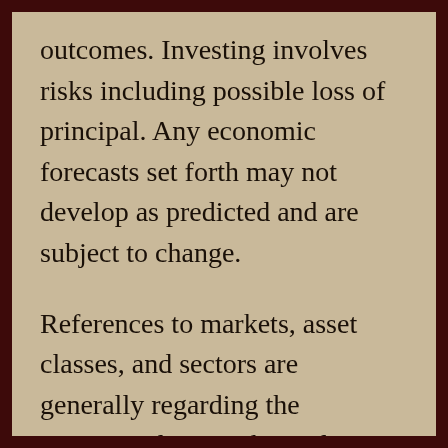outcomes. Investing involves risks including possible loss of principal. Any economic forecasts set forth may not develop as predicted and are subject to change.
References to markets, asset classes, and sectors are generally regarding the corresponding market index. Indexes are unmanaged statistical composites and cannot be invested into directly. Index performance is not indicative of the performance of